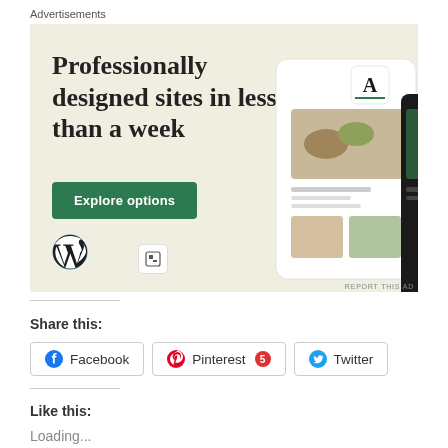Advertisements
[Figure (illustration): WordPress advertisement banner with beige/cream background showing 'Professionally designed sites in less than a week' with green 'Explore options' button, WordPress logo, and phone/tablet mockups displaying website templates]
Share this:
Facebook
Pinterest 5
Twitter
Like this:
Loading...